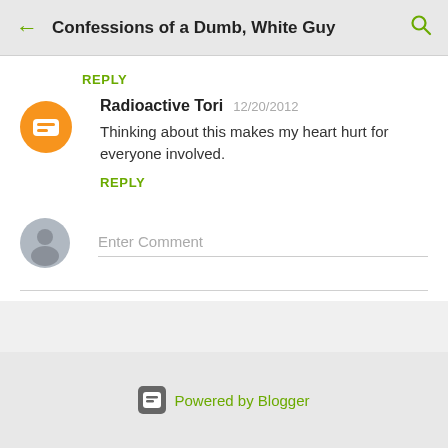Confessions of a Dumb, White Guy
REPLY
Radioactive Tori  12/20/2012
Thinking about this makes my heart hurt for everyone involved.
REPLY
Enter Comment
Powered by Blogger